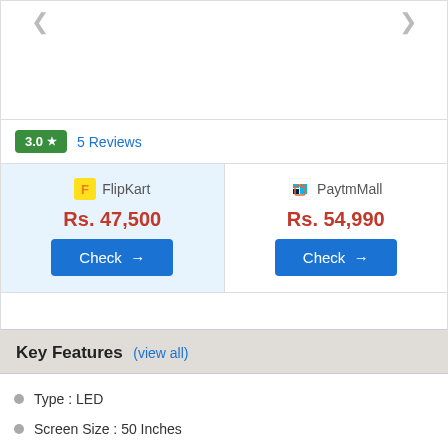[Figure (screenshot): Product image area with navigation arrows (partially visible at top)]
3.0 ★  5 Reviews
FlipKart  Rs. 47,500  Check →
PaytmMall  Rs. 54,990  Check →
Key Features (view all)
Type : LED
Screen Size : 50 Inches
Display : 4K Ultra HD
Resolution : 3840 x 2160 Pixels